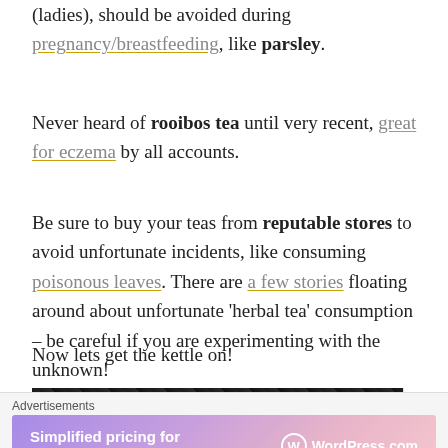(ladies), should be avoided during pregnancy/breastfeeding, like parsley.
Never heard of rooibos tea until very recent, great for eczema by all accounts.
Be sure to buy your teas from reputable stores to avoid unfortunate incidents, like consuming poisonous leaves. There are a few stories floating around about unfortunate 'herbal tea' consumption – be careful if you are experimenting with the unknown!
Now lets get the kettle on!
[Figure (photo): Dark background photo strip with a yellow element visible]
Advertisements
[Figure (screenshot): WordPress.com advertisement banner: Simplified pricing for everything you need.]